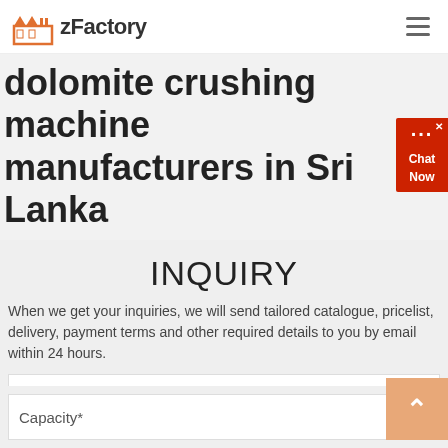zFactory
dolomite crushing machine manufacturers in Sri Lanka
INQUIRY
When we get your inquiries, we will send tailored catalogue, pricelist, delivery, payment terms and other required details to you by email within 24 hours.
pruduct*
Application*
Capacity*